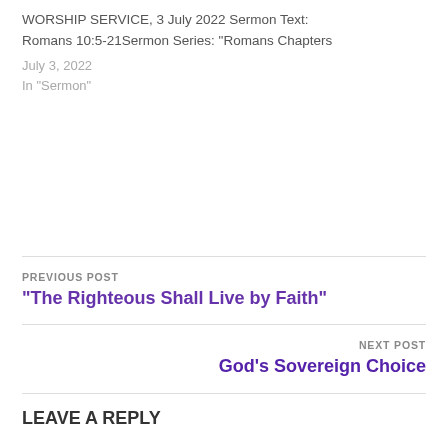WORSHIP SERVICE, 3 July 2022 Sermon Text: Romans 10:5-21Sermon Series: "Romans Chapters
July 3, 2022
In "Sermon"
PREVIOUS POST
“The Righteous Shall Live by Faith”
NEXT POST
God’s Sovereign Choice
LEAVE A REPLY